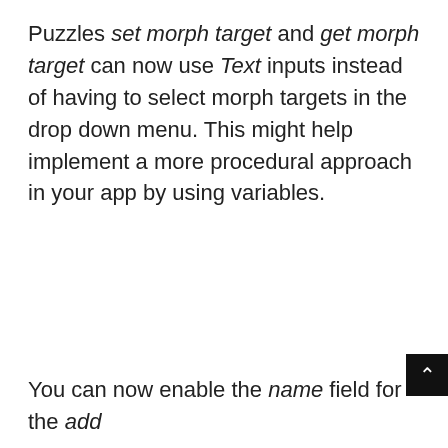Puzzles set morph target and get morph target can now use Text inputs instead of having to select morph targets in the drop down menu. This might help implement a more procedural approach in your app by using variables.
[Figure (screenshot): Cookie consent modal dialog with dark grey background. Text reads: 'We use cookies to ensure that we give you the best experience on our website. If you continue to use this site we will assume that you are happy with it.' Below is a blue button labeled 'OK, I AGREE'.]
You can now enable the name field for the add